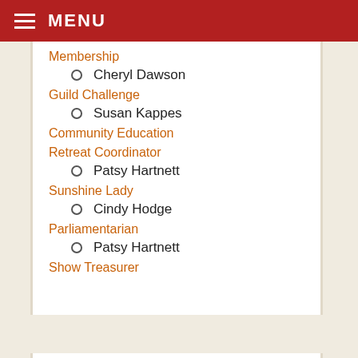MENU
Membership
Cheryl Dawson
Guild Challenge
Susan Kappes
Community Education
Retreat Coordinator
Patsy Hartnett
Sunshine Lady
Cindy Hodge
Parliamentarian
Patsy Hartnett
Show Treasurer
Treasurer's Reports